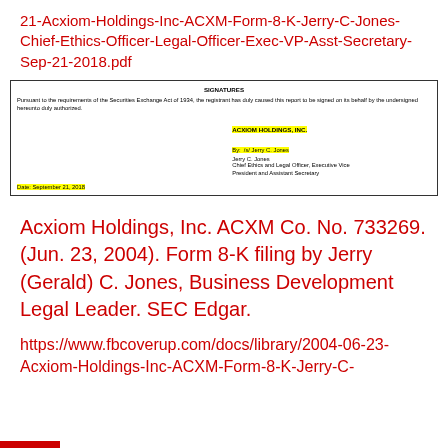21-Acxiom-Holdings-Inc-ACXM-Form-8-K-Jerry-C-Jones-Chief-Ethics-Officer-Legal-Officer-Exec-VP-Asst-Secretary-Sep-21-2018.pdf
[Figure (other): Signature block from SEC Form 8-K filing showing ACXIOM HOLDINGS, INC. signed by /s/ Jerry C. Jones, Chief Ethics and Legal Officer, Executive Vice President and Assistant Secretary, dated September 21, 2018]
Acxiom Holdings, Inc. ACXM Co. No. 733269. (Jun. 23, 2004). Form 8-K filing by Jerry (Gerald) C. Jones, Business Development Legal Leader. SEC Edgar.
https://www.fbcoverup.com/docs/library/2004-06-23-Acxiom-Holdings-Inc-ACXM-Form-8-K-Jerry-C-